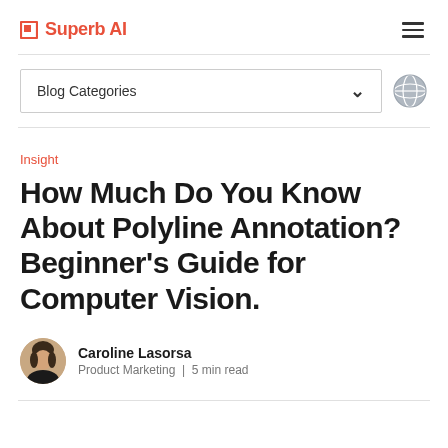Superb AI
Blog Categories
Insight
How Much Do You Know About Polyline Annotation? Beginner's Guide for Computer Vision.
Caroline Lasorsa
Product Marketing | 5 min read